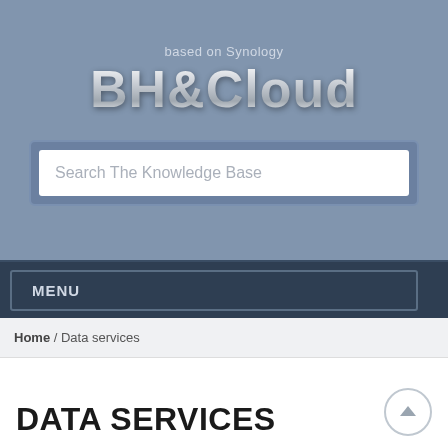[Figure (logo): BH&Cloud logo with 'based on Synology' subtitle, displayed on steel-blue background]
Search The Knowledge Base
MENU
Home / Data services
DATA SERVICES